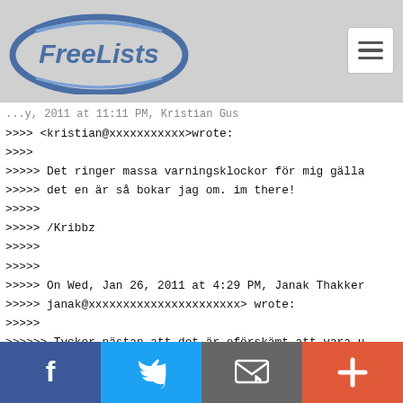[Figure (logo): FreeLists logo — blue oval with FreeLists text in italic white/blue letters]
>>>> <kristian@xxxxxxxxxxx>wrote:
>>>>
>>>>> Det ringer massa varningsklockor för mig gälla
>>>>> det en är så bokar jag om. im there!
>>>>>
>>>>> /Kribbz
>>>>>
>>>>>
>>>>> On Wed, Jan 26, 2011 at 4:29 PM, Janak Thakker
>>>>> janak@xxxxxxxxxxxxxxxxxxxxxx> wrote:
>>>>>
>>>>>> Tycker nästan att det är oförskämt att vara u
>>>>>>
>>>>>> 2011/1/26 Stefan Andersson <stefan@xxxxxxxxxx
>>>>>>
[Figure (infographic): Social sharing bar with Facebook (blue), Twitter (light blue), Email (grey), and Plus/share (orange-red) buttons]